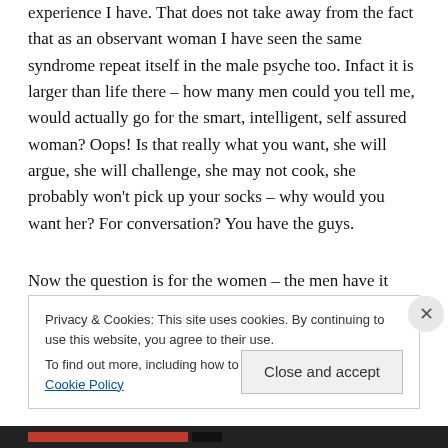experience I have. That does not take away from the fact that as an observant woman I have seen the same syndrome repeat itself in the male psyche too. Infact it is larger than life there – how many men could you tell me, would actually go for the smart, intelligent, self assured woman? Oops! Is that really what you want, she will argue, she will challenge, she may not cook, she probably won't pick up your socks – why would you want her? For conversation? You have the guys.
Now the question is for the women – the men have it
Privacy & Cookies: This site uses cookies. By continuing to use this website, you agree to their use.
To find out more, including how to control cookies, see here: Cookie Policy
Close and accept